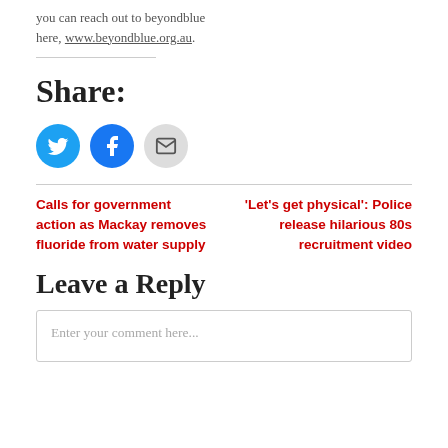you can reach out to beyondblue here, www.beyondblue.org.au.
Share:
[Figure (other): Three social sharing buttons: Twitter (blue bird icon), Facebook (blue f icon), and Email (grey envelope icon)]
Calls for government action as Mackay removes fluoride from water supply
'Let's get physical': Police release hilarious 80s recruitment video
Leave a Reply
Enter your comment here...